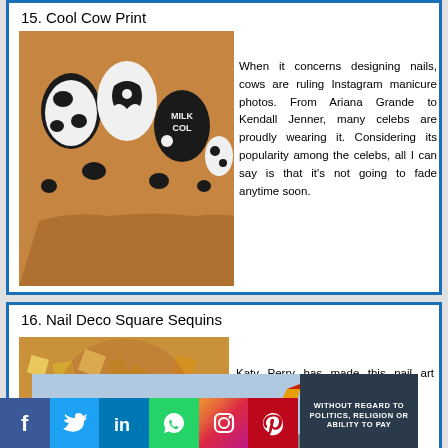15. Cool Cow Print
[Figure (photo): Close-up photo of cow print nail art on a hand, featuring black and white pattern with spots and text on nails]
When it concerns designing nails, cows are ruling Instagram manicure photos. From Ariana Grande to Kendall Jenner, many celebs are proudly wearing it. Considering its popularity among the celebs, all I can say is that it’s not going to fade anytime soon.
16. Nail Deco Square Sequins
[Figure (photo): Close-up photo of gold/metallic square sequin nail art]
Katy Perry has made this nail art famous. Nail deco square sequins
[Figure (photo): Advertisement banner showing an airplane with Southwest Airlines livery and text WITHOUT REGARD TO POLITICS, RELIGION OR ABILITY TO PAY]
WITHOUT REGARD TO POLITICS, RELIGION OR ABILITY TO PAY